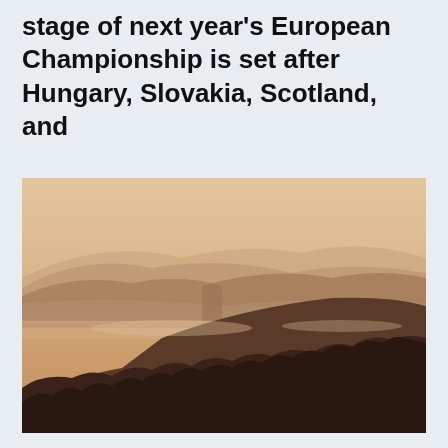stage of next year's European Championship is set after Hungary, Slovakia, Scotland, and
[Figure (photo): A misty mountain landscape at dusk or dawn with layered hills receding into a warm, amber-toned hazy background. Dark silhouettes of trees and forest cover the foreground and right side, with clouds or fog settled in the valleys between ridges.]